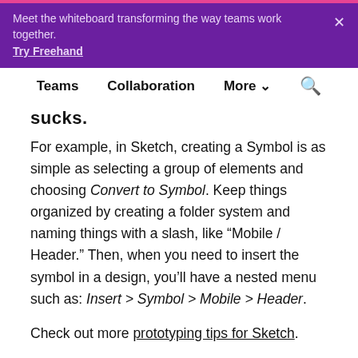Meet the whiteboard transforming the way teams work together. Try Freehand
Teams  Collaboration  More  [search]
sucks.
For example, in Sketch, creating a Symbol is as simple as selecting a group of elements and choosing Convert to Symbol. Keep things organized by creating a folder system and naming things with a slash, like “Mobile / Header.” Then, when you need to insert the symbol in a design, you’ll have a nested menu such as: Insert > Symbol > Mobile > Header.
Check out more prototyping tips for Sketch.
Make Repeat Grids in Photoshop — Use Symbols in